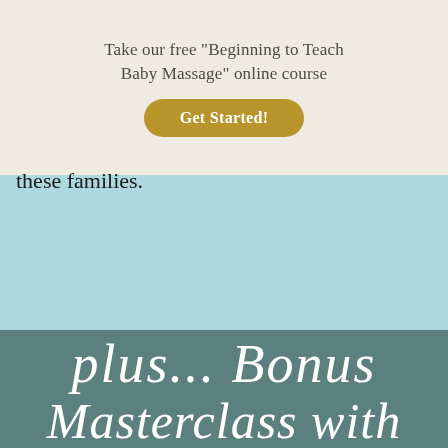Take our free "Beginning to Teach Baby Massage" online course
Get Started!
these families.
[Figure (infographic): Script handwriting style text on teal/muted green background reading: plus... Bonus Masterclass with [continued below]]